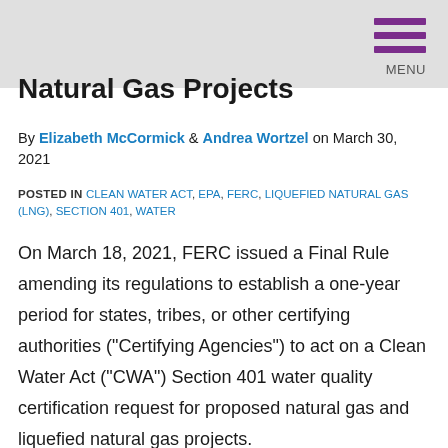MENU
Natural Gas Projects
By Elizabeth McCormick & Andrea Wortzel on March 30, 2021
POSTED IN CLEAN WATER ACT, EPA, FERC, LIQUEFIED NATURAL GAS (LNG), SECTION 401, WATER
On March 18, 2021, FERC issued a Final Rule amending its regulations to establish a one-year period for states, tribes, or other certifying authorities ("Certifying Agencies") to act on a Clean Water Act ("CWA") Section 401 water quality certification request for proposed natural gas and liquefied natural gas projects.